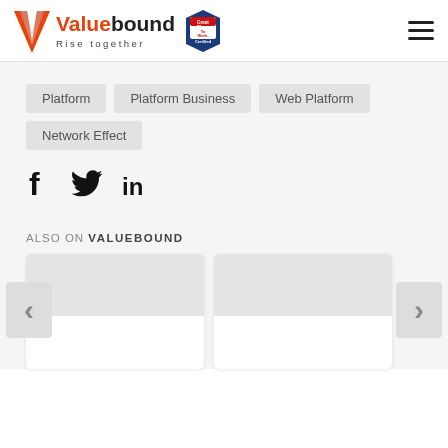[Figure (logo): Valuebound logo with orange V icon, text 'Valuebound Rise together', and Great Place To Work Certified badge]
Platform
Platform Business
Web Platform
Network Effect
[Figure (infographic): Social media share icons: Facebook (f), Twitter (bird), LinkedIn (in)]
ALSO ON VALUEBOUND
[Figure (infographic): Content card carousel with left and right navigation arrows, two article preview cards visible]